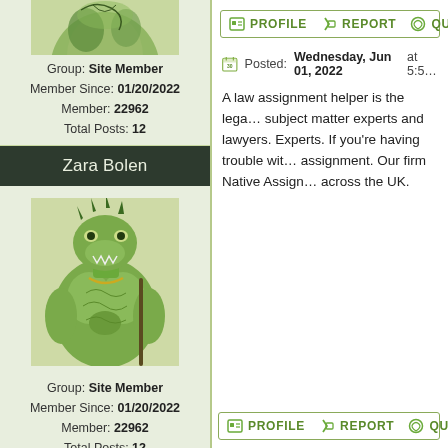[Figure (illustration): Partially visible avatar image of a muscular green lizard/crocodile character at the top left, cropped]
Group: Site Member
Member Since: 01/20/2022
Member: 22962
Total Posts: 12
Zara Bolen
[Figure (illustration): Avatar image of a muscular green lizard/crocodile character holding a staff, detailed fantasy illustration]
Group: Site Member
Member Since: 01/20/2022
Member: 22962
Total Posts: 12
PROFILE   REPORT   QUOTE
Posted: Wednesday, Jun 01, 2022 at 5:5...
A law assignment helper is the lega... subject matter experts and lawyers. Experts. If you're having trouble wit... assignment. Our firm Native Assign... across the UK.
PROFILE   REPORT   QUOTE